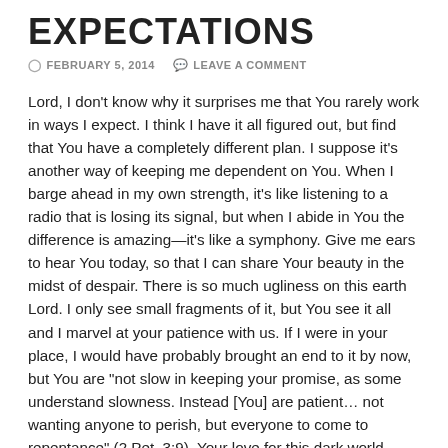EXPECTATIONS
FEBRUARY 5, 2014   LEAVE A COMMENT
Lord, I don't know why it surprises me that You rarely work in ways I expect. I think I have it all figured out, but find that You have a completely different plan. I suppose it’s another way of keeping me dependent on You. When I barge ahead in my own strength, it’s like listening to a radio that is losing its signal, but when I abide in You the difference is amazing—it’s like a symphony. Give me ears to hear You today, so that I can share Your beauty in the midst of despair. There is so much ugliness on this earth Lord. I only see small fragments of it, but You see it all and I marvel at your patience with us. If I were in your place, I would have probably brought an end to it by now, but You are “not slow in keeping your promise, as some understand slowness. Instead [You] are patient… not wanting anyone to perish, but everyone to come to repentance” (2 Pet. 3:9). Your love for this dark world amazes me. I know that my